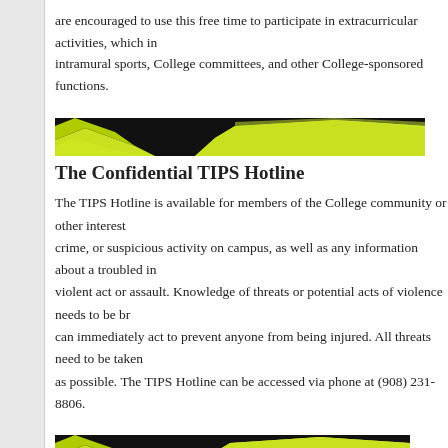are encouraged to use this free time to participate in extracurricular activities, which in intramural sports, College committees, and other College-sponsored functions.
[Figure (illustration): Decorative banner graphic with black and lime green wave/chevron shapes]
The Confidential TIPS Hotline
The TIPS Hotline is available for members of the College community or other interest crime, or suspicious activity on campus, as well as any information about a troubled in violent act or assault. Knowledge of threats or potential acts of violence needs to be br can immediately act to prevent anyone from being injured. All threats need to be taken as possible. The TIPS Hotline can be accessed via phone at (908) 231-8806.
[Figure (illustration): Decorative banner graphic with black and lime green wave/chevron shapes]
Federal Credit Union Services
Anyone in the RVCC community may become a member of the Affinity Federal Credi level of the College Center, behind the cafeteria. The full-service facility is staffed on a limited hours during the summer.  The student service representatives go through an in competitively priced credit union products — checking and savings accounts, loans, et Affinity branch. Affinity also conducts several financial literacy seminars during the ye